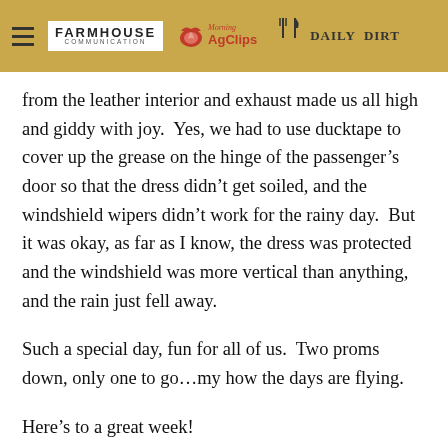FARMHOUSE COMMUNICATION | Morning AgClips | DAILY DIRT
from the leather interior and exhaust made us all high and giddy with joy.  Yes, we had to use ducktape to cover up the grease on the hinge of the passenger’s door so that the dress didn’t get soiled, and the windshield wipers didn’t work for the rainy day.  But it was okay, as far as I know, the dress was protected and the windshield was more vertical than anything, and the rain just fell away.
Such a special day, fun for all of us.  Two proms down, only one to go…my how the days are flying.
Here’s to a great week!